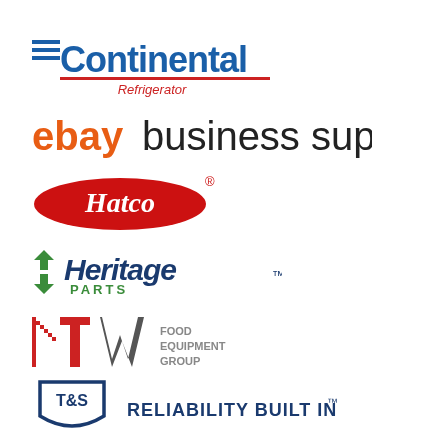[Figure (logo): Continental Refrigerator logo - blue stylized text with red underline and red 'Refrigerator' subtitle]
[Figure (logo): eBay Business Supply logo - orange 'ebay' text followed by dark 'business supply' text]
[Figure (logo): Hatco logo - red oval with white italic Hatco text and registered trademark symbol]
[Figure (logo): Heritage Parts logo - dark blue italic text with green PARTS subtitle and arrow icon]
[Figure (logo): ITW Food Equipment Group logo - red and gray ITW letters with gray Food Equipment Group text]
[Figure (logo): T&S Brass logo - dark blue shield shape with T&S text and RELIABILITY BUILT IN tagline]